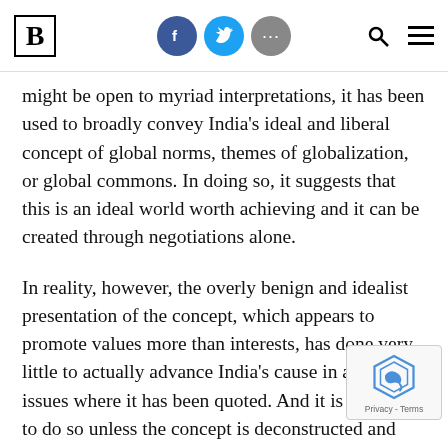Brookings Institution navigation header with logo, Facebook, Twitter, more icons, search and menu
might be open to myriad interpretations, it has been used to broadly convey India’s ideal and liberal concept of global norms, themes of globalization, or global commons. In doing so, it suggests that this is an ideal world worth achieving and it can be created through negotiations alone.
In reality, however, the overly benign and idealist presentation of the concept, which appears to promote values more than interests, has done very little to actually advance India’s cause in any of the issues where it has been quoted. And it is unlikely to do so unless the concept is deconstructed and better understood.